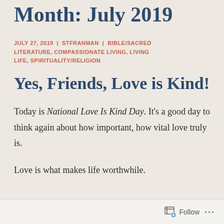Month: July 2019
JULY 27, 2019 | STFRANMAN | BIBLE/SACRED LITERATURE, COMPASSIONATE LIVING, LIVING LIFE, SPIRITUALITY/RELIGION
Yes, Friends, Love is Kind!
Today is National Love Is Kind Day. It's a good day to think again about how important, how vital love truly is.
Love is what makes life worthwhile.
Follow ...